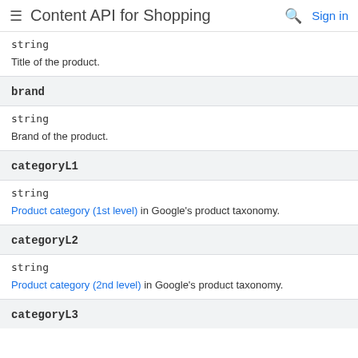Content API for Shopping
string
Title of the product.
brand
string
Brand of the product.
categoryL1
string
Product category (1st level) in Google's product taxonomy.
categoryL2
string
Product category (2nd level) in Google's product taxonomy.
categoryL3